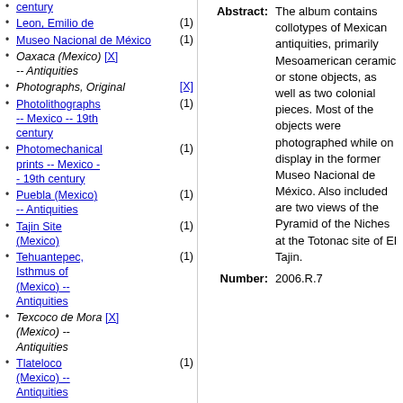century
Leon, Emilio de (1)
Museo Nacional de México (1)
Oaxaca (Mexico) [X] -- Antiquities
Photographs, Original [X]
Photolithographs -- Mexico -- 19th century (1)
Photomechanical prints -- Mexico -- 19th century (1)
Puebla (Mexico) -- Antiquities (1)
Tajin Site (Mexico) (1)
Tehuantepec, Isthmus of (Mexico) -- Antiquities (1)
Texcoco de Mora (Mexico) -- Antiquities [X]
Tlateloco (Mexico) -- Antiquities (1)
Tlaxcala (Mexico) (1)
Abstract: The album contains collotypes of Mexican antiquities, primarily Mesoamerican ceramic or stone objects, as well as two colonial pieces. Most of the objects were photographed while on display in the former Museo Nacional de México. Also included are two views of the Pyramid of the Niches at the Totonac site of El Tajin.
Number: 2006.R.7